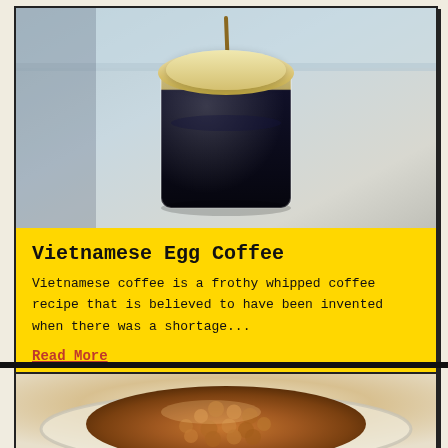[Figure (photo): Close-up photo of Vietnamese egg coffee in a small glass cup, showing dark coffee layered below a thick creamy egg foam topping, placed near a window with soft natural light]
Vietnamese Egg Coffee
Vietnamese coffee is a frothy whipped coffee recipe that is believed to have been invented when there was a shortage...
Read More
[Figure (photo): Close-up photo of tapioca pearls in a glass bowl, showing small amber/brown translucent spherical pearls clustered together]